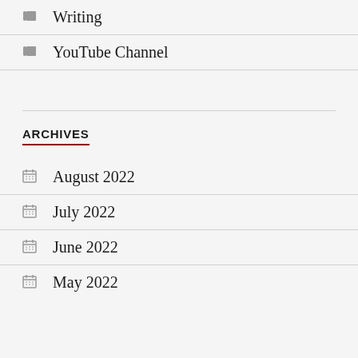Writing
YouTube Channel
ARCHIVES
August 2022
July 2022
June 2022
May 2022